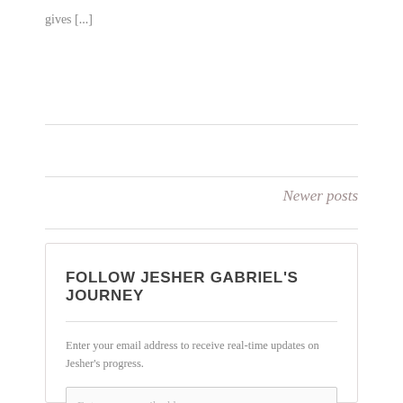gives [...]
Newer posts
FOLLOW JESHER GABRIEL'S JOURNEY
Enter your email address to receive real-time updates on Jesher's progress.
Enter your email address